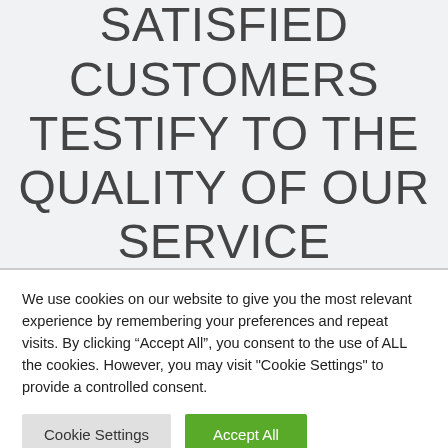SATISFIED CUSTOMERS TESTIFY TO THE QUALITY OF OUR SERVICE
We use cookies on our website to give you the most relevant experience by remembering your preferences and repeat visits. By clicking “Accept All”, you consent to the use of ALL the cookies. However, you may visit "Cookie Settings" to provide a controlled consent.